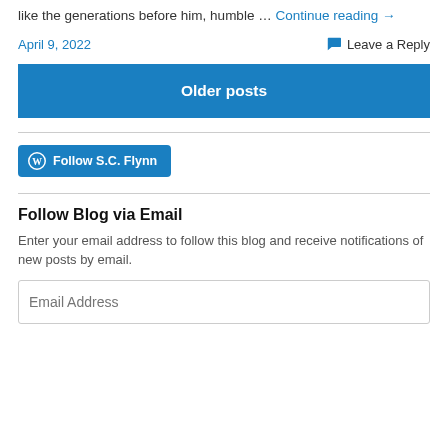like the generations before him, humble … Continue reading →
April 9, 2022   Leave a Reply
Older posts
[Figure (other): WordPress Follow S.C. Flynn button]
Follow Blog via Email
Enter your email address to follow this blog and receive notifications of new posts by email.
Email Address